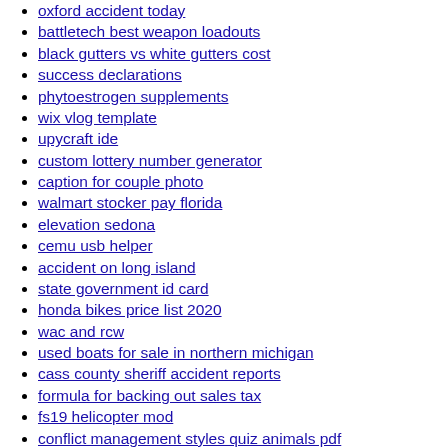oxford accident today
battletech best weapon loadouts
black gutters vs white gutters cost
success declarations
phytoestrogen supplements
wix vlog template
upycraft ide
custom lottery number generator
caption for couple photo
walmart stocker pay florida
elevation sedona
cemu usb helper
accident on long island
state government id card
honda bikes price list 2020
wac and rcw
used boats for sale in northern michigan
cass county sheriff accident reports
formula for backing out sales tax
fs19 helicopter mod
conflict management styles quiz animals pdf
florida state fair rides
2 bedroom houses for rent muncie
banquet hall for sale orange county
2014 chevy equinox engine replacement cost